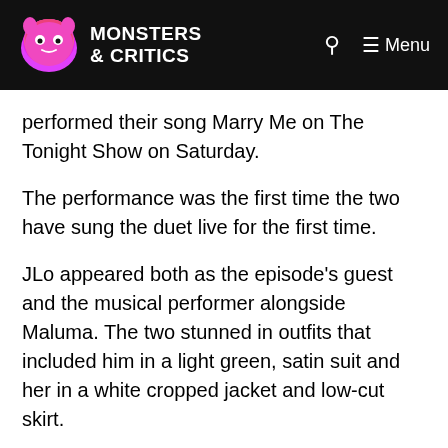Monsters & Critics
performed their song Marry Me on The Tonight Show on Saturday.
The performance was the first time the two have sung the duet live for the first time.
JLo appeared both as the episode's guest and the musical performer alongside Maluma. The two stunned in outfits that included him in a light green, satin suit and her in a white cropped jacket and low-cut skirt.
The two sang the title track for Jennifer Lopez's new movie, Marry Me